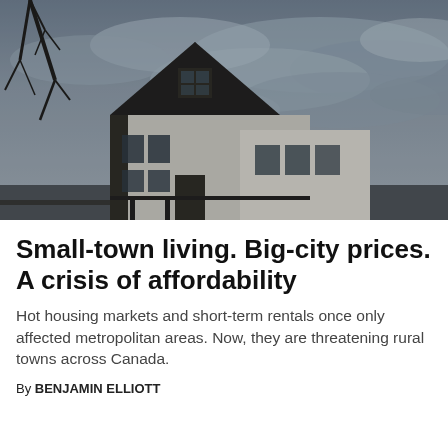[Figure (photo): A dark, moody photograph of a two-storey house with a steep peaked roof and dormer window, white brick exterior and dark wood trim, taken from a low angle against an overcast grey sky with bare tree branches visible on the left.]
Small-town living. Big-city prices. A crisis of affordability
Hot housing markets and short-term rentals once only affected metropolitan areas. Now, they are threatening rural towns across Canada.
By BENJAMIN ELLIOTT